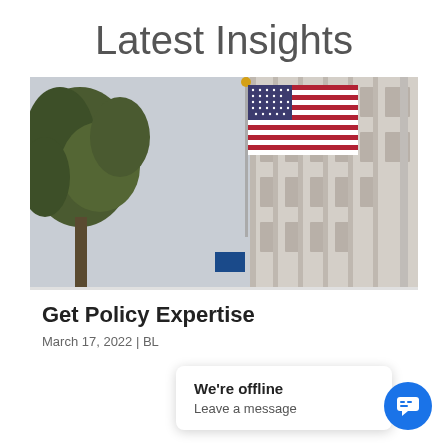Latest Insights
[Figure (photo): Photograph of an American flag waving in front of a large stone government building, with tree branches visible on the left side and a grey sky in the background.]
Get Policy Expertise
March 17, 2022 | BL
We're offline
Leave a message